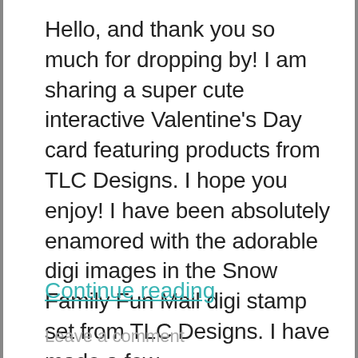Hello, and thank you so much for dropping by! I am sharing a super cute interactive Valentine's Day card featuring products from TLC Designs. I hope you enjoy! I have been absolutely enamored with the adorable digi images in the Snow Family Fun Mail digi stamp set from TLC Designs. I have made a few…
Continue reading
Leave a comment